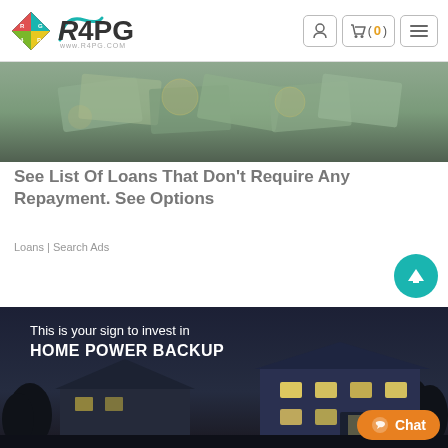[Figure (logo): R4PG logo with diamond icon and www.r4pg.com URL]
[Figure (screenshot): Navigation bar with user icon, shopping cart (0), and menu icon buttons]
[Figure (photo): Advertisement image showing money/cash pile]
See List Of Loans That Don't Require Any Repayment. See Options
Loans | Search Ads
[Figure (photo): Advertisement image of a house at night with text: This is your sign to invest in HOME POWER BACKUP]
Chat